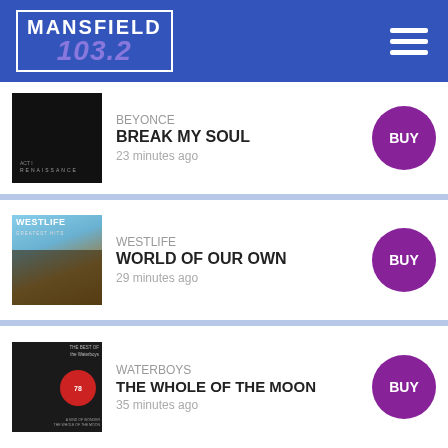Mansfield 103.2
BEYONCE — BREAK MY SOUL — 23 minutes ago
WESTLIFE — WORLD OF OUR OWN — 29 minutes ago
WATERBOYS — THE WHOLE OF THE MOON — 35 minutes ago